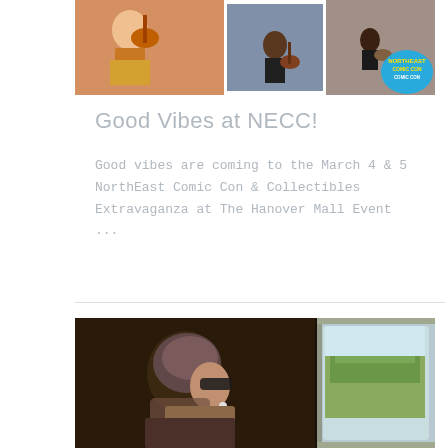[Figure (photo): Photo collage of musicians with guitars and a ukulele player in a hula skirt, with a NorthEast Comic Con logo badge in the bottom right corner]
Good Vibes at NECC!
Good vibes are coming to the March 4 & 5 NorthEast Comic Con & Collectibles Extravaganza at The Hanover Mall Event ...
[Figure (photo): Woman wearing a patterned head scarf and sunglasses viewed from the side, sitting inside a vintage vehicle, with green trees visible through the window]